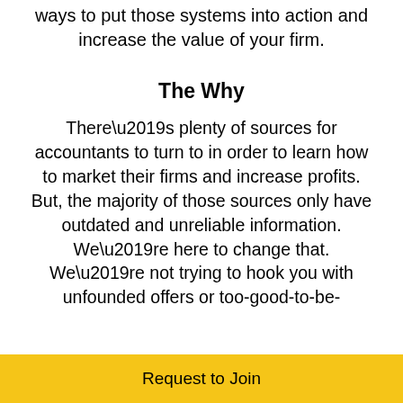ways to put those systems into action and increase the value of your firm.
The Why
There’s plenty of sources for accountants to turn to in order to learn how to market their firms and increase profits. But, the majority of those sources only have outdated and unreliable information. We’re here to change that. We’re not trying to hook you with unfounded offers or too-good-to-be-
Request to Join